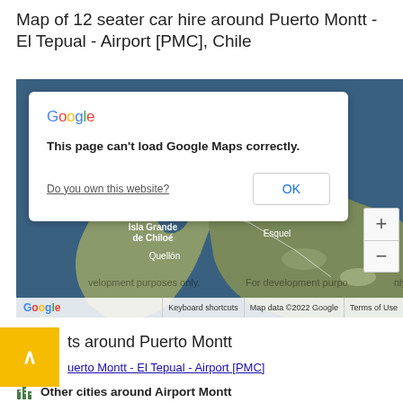Map of 12 seater car hire around Puerto Montt - El Tepual - Airport [PMC], Chile
[Figure (screenshot): Google Maps screenshot showing a map centered on southern Chile (Isla Grande de Chiloé, Quellón, Esquel area) with a Google error dialog overlay reading 'This page can't load Google Maps correctly.' with a link 'Do you own this website?' and an OK button. Map includes zoom controls and a footer with keyboard shortcuts, map data copyright 2022 Google, and Terms of Use. Development purposes watermark visible.]
ts around Puerto Montt
uerto Montt - El Tepual - Airport [PMC]
Other cities around Airport Montt